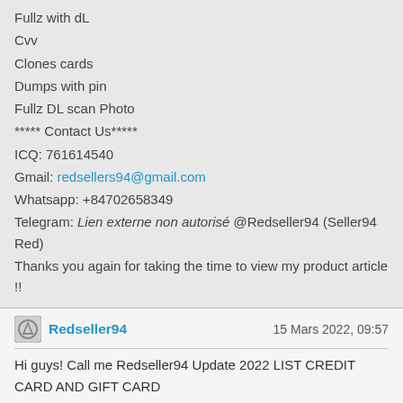Fullz with dL
Cvv
Clones cards
Dumps with pin
Fullz DL scan Photo
***** Contact Us*****
ICQ: 761614540
Gmail: redsellers94@gmail.com
Whatsapp: +84702658349
Telegram: Lien externe non autorisé @Redseller94 (Seller94 Red)
Thanks you again for taking the time to view my product article !!
Redseller94 — 15 Mars 2022, 09:57
Hi guys! Call me Redseller94 Update 2022 LIST CREDIT CARD AND GIFT CARD

***** CREDIT CARD USA (Best Seller) UNITED KINGDOM (Best Seller) AUSTRALIA CANADA FRANCE GERMANY CHILE TAIWAN SPAIN JAPAN ITALY BRAZIL